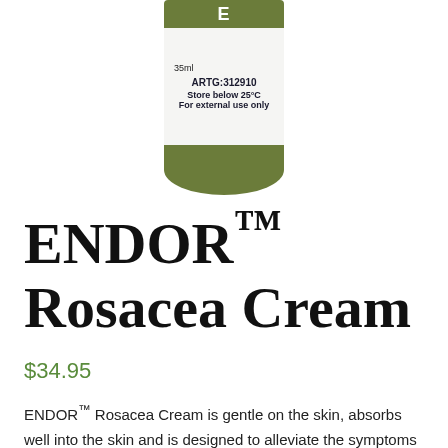[Figure (photo): A small cylindrical cream tube with a green cap and green top band, white body showing 'ARTG:312910', 'Store below 25°C', 'For external use only', and '35ml' text, with a green logo area at top.]
ENDOR™ Rosacea Cream
$34.95
ENDOR™ Rosacea Cream is gentle on the skin, absorbs well into the skin and is designed to alleviate the symptoms of moderate –